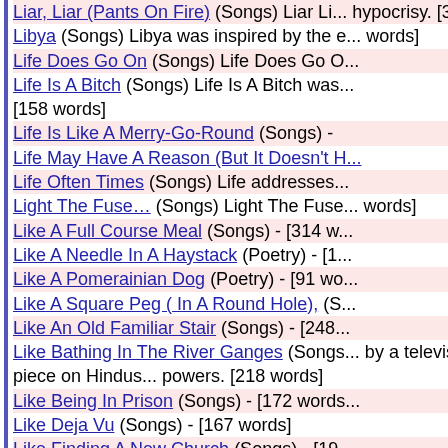Liar, Liar (Pants On Fire) (Songs) Liar Liar... hypocrisy. [302 words]
Libya (Songs) Libya was inspired by the e... words]
Life Does Go On (Songs) Life Does Go O...
Life Is A Bitch (Songs) Life Is A Bitch was... [158 words]
Life Is Like A Merry-Go-Round (Songs) -
Life May Have A Reason (But It Doesn't H...
Life Often Times (Songs) Life addresses...
Light The Fuse… (Songs) Light The Fuse... words]
Like A Full Course Meal (Songs) - [314 w...
Like A Needle In A Haystack (Poetry) - [1...
Like A Pomerainian Dog (Poetry) - [91 wo...
Like A Square Peg ( In A Round Hole), (S...
Like An Old Familiar Stair (Songs) - [248...
Like Bathing In The River Ganges (Songs) by a television magazine piece on Hindu... powers. [218 words]
Like Being In Prison (Songs) - [172 words...
Like Deja Vu (Songs) - [167 words]
Like Finding A New Church (Songs) - [19...
Like Good Sex (Songs) - [215 words]
Like Holding Sand In My Hand (Songs) L... something Joni Mitchell said to Graham N... words]